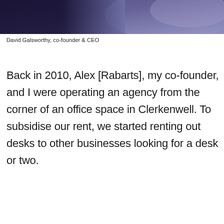[Figure (photo): Cropped photo of David Galsworthy, showing dark clothing against a purple/blue background, only the lower portion of the person visible]
David Galsworthy, co-founder & CEO
Back in 2010, Alex [Rabarts], my co-founder, and I were operating an agency from the corner of an office space in Clerkenwell. To subsidise our rent, we started renting out desks to other businesses looking for a desk or two.